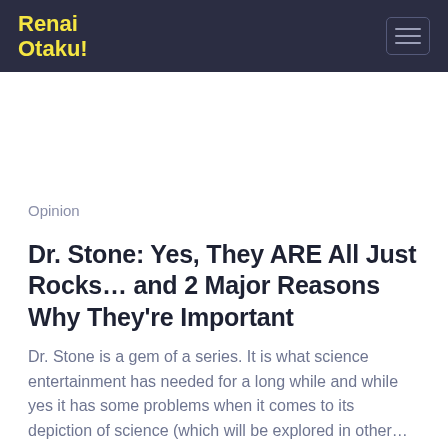Renai Otaku!
Opinion
Dr. Stone: Yes, They ARE All Just Rocks… and 2 Major Reasons Why They're Important
Dr. Stone is a gem of a series. It is what science entertainment has needed for a long while and while yes it has some problems when it comes to its depiction of science (which will be explored in other…